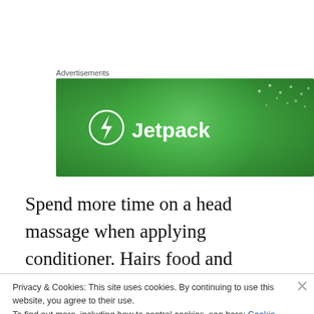Advertisements
[Figure (logo): Jetpack advertisement banner — green background with circular gradient, Jetpack logo (lightning bolt in circle) and text 'Jetpack']
Spend more time on a head massage when applying conditioner. Hairs food and nourishment is the blood supply, therefore massage draws blood to the surface and feeds the hair follicle. This means regular head massage
Privacy & Cookies: This site uses cookies. By continuing to use this website, you agree to their use.
To find out more, including how to control cookies, see here: Cookie Policy
Close and accept